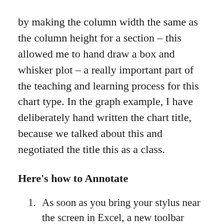by making the column width the same as the column height for a section – this allowed me to hand draw a box and whisker plot – a really important part of the teaching and learning process for this chart type. In the graph example, I have deliberately hand written the chart title, because we talked about this and negotiated the title this as a class.
Here's how to Annotate
As soon as you bring your stylus near the screen in Excel, a new toolbar pops into existence, the INK TOOLS.